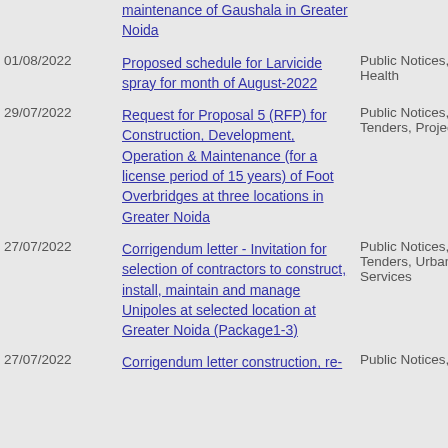| Date | Title | Category |
| --- | --- | --- |
|  | maintenance of Gaushala in Greater Noida |  |
| 01/08/2022 | Proposed schedule for Larvicide spray for month of August-2022 | Public Notices, Health |
| 29/07/2022 | Request for Proposal 5 (RFP) for Construction, Development, Operation & Maintenance (for a license period of 15 years) of Foot Overbridges at three locations in Greater Noida | Public Notices, Tenders, Project |
| 27/07/2022 | Corrigendum letter - Invitation for selection of contractors to construct, install, maintain and manage Unipoles at selected location at Greater Noida (Package1-3) | Public Notices, Tenders, Urban Services |
| 27/07/2022 | Corrigendum letter construction, re- | Public Notices, |